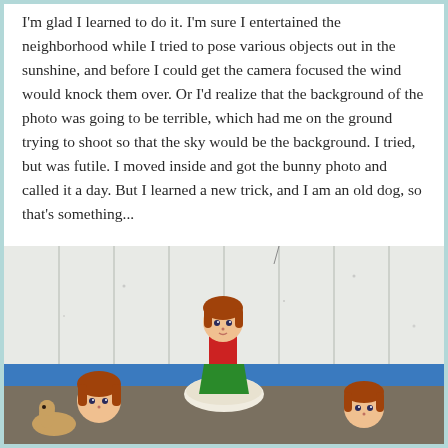I'm glad I learned to do it.  I'm sure I entertained the neighborhood while I tried to pose various objects out in the sunshine, and before I could get the camera focused the wind would knock them over.  Or I'd realize that the background of the photo was going to be terrible, which had me on the ground trying to shoot so that the sky would be the background.  I tried, but was futile.  I moved inside and got the bunny photo and called it a day.  But I learned a new trick, and I am an old dog, so that's something...
[Figure (photo): Indoor photo of vintage dolls with auburn hair posed against a white paneled wall with a blue baseboard. A doll in a red top and green skirt sits in a white shell or bowl in the center, with two other similar dolls visible on either side at floor level.]